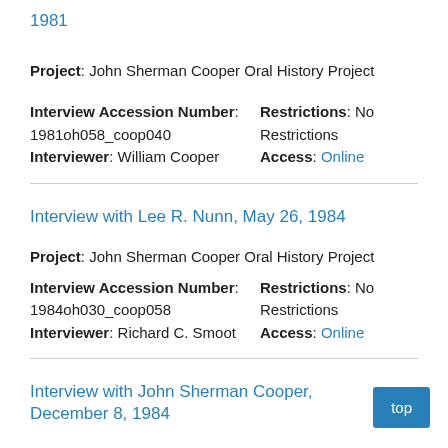1981
Project: John Sherman Cooper Oral History Project
Interview Accession Number: 1981oh058_coop040
Interviewer: William Cooper
Restrictions: No Restrictions
Access: Online
Interview with Lee R. Nunn, May 26, 1984
Project: John Sherman Cooper Oral History Project
Interview Accession Number: 1984oh030_coop058
Interviewer: Richard C. Smoot
Restrictions: No Restrictions
Access: Online
Interview with John Sherman Cooper, December 8, 1984
Project: John Sherman Cooper Oral History Pro
Interview Accession Number:
Restrictions: No Restrictions